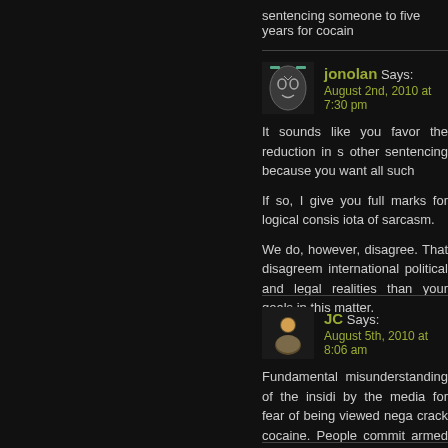sentencing someone to five years for cocain
jonolan Says:
August 2nd, 2010 at 7:30 pm

It sounds like you favor the reduction in s other sentencing because you want all such

If so, I give you full marks for logical consis iota of sarcasm.

We do, however, disagree. That disagreem international political and legal realities than your goals in this matter.
JC Says:
August 5th, 2010 at 8:06 am

Fundamental misunderstanding of the insidi by the media for fear of being viewed nega crack cocaine. People commit armed ho commit burglaries and larcenies on a daily with cocaine itself with regards to the viol from my libertarian perspective, we don't p Nothing could be further from the truth to t leach on all of society.